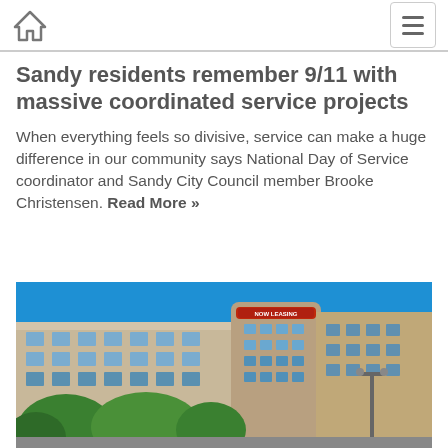Home | Menu
Sandy residents remember 9/11 with massive coordinated service projects
When everything feels so divisive, service can make a huge difference in our community says National Day of Service coordinator and Sandy City Council member Brooke Christensen. Read More »
[Figure (photo): Exterior photo of a multi-story apartment building with a 'Now Leasing' banner on the top, surrounded by green trees under a clear blue sky.]